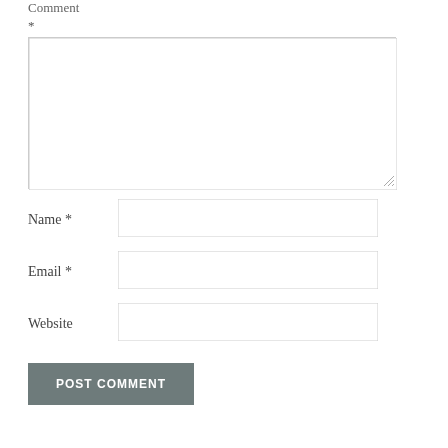Comment
*
[Figure (screenshot): Comment textarea input box with resize handle]
Name *
[Figure (screenshot): Name text input field]
Email *
[Figure (screenshot): Email text input field]
Website
[Figure (screenshot): Website text input field]
POST COMMENT